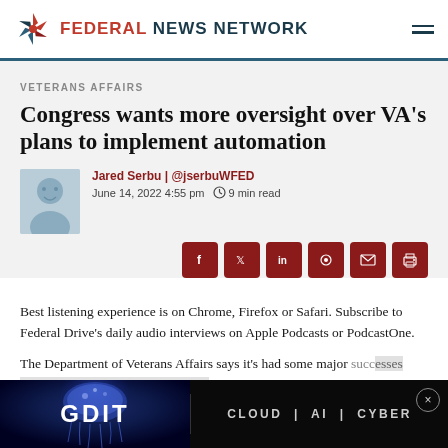FEDERAL NEWS NETWORK
VETERANS AFFAIRS
Congress wants more oversight over VA's plans to implement automation
Jared Serbu | @jserbuWFED
June 14, 2022 4:55 pm  9 min read
Best listening experience is on Chrome, Firefox or Safari. Subscribe to Federal Drive's daily audio interviews on Apple Podcasts or PodcastOne.
The Department of Veterans Affairs says it's had some major successes with automating some of its claims processing... Congress... issued
[Figure (photo): Advertisement banner for GDIT: CLOUD | AI | CYBER with jellyfish background imagery]